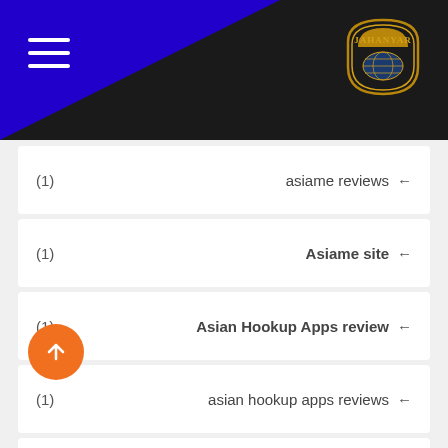[Figure (logo): Jahanyar badge logo with gold text on dark background, top right of header]
(1)  asiame reviews ←
(1)  Asiame site ←
(1)  Asian Hookup Apps review ←
(1)  asian hookup apps reviews ←
(1)  asiandate fr sito di incontri ←
(1)  asiandate visitors ←